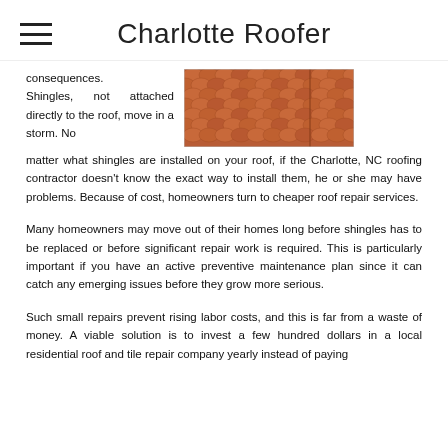Charlotte Roofer
consequences. Shingles, not attached directly to the roof, move in a storm. No matter what shingles are installed on your roof, if the Charlotte, NC roofing contractor doesn't know the exact way to install them, he or she may have problems. Because of cost, homeowners turn to cheaper roof repair services.
[Figure (photo): Close-up photograph of terracotta/clay roof tiles arranged in overlapping rows]
Many homeowners may move out of their homes long before shingles has to be replaced or before significant repair work is required. This is particularly important if you have an active preventive maintenance plan since it can catch any emerging issues before they grow more serious.
Such small repairs prevent rising labor costs, and this is far from a waste of money. A viable solution is to invest a few hundred dollars in a local residential roof and tile repair company yearly instead of paying